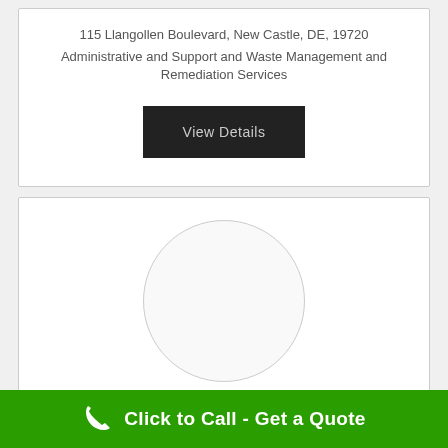115 Llangollen Boulevard, New Castle, DE, 19720
Administrative and Support and Waste Management and Remediation Services
[Figure (other): Dark button labeled 'View Details']
[Figure (other): Circular placeholder image/logo for Royal Termite & Pest Control]
Royal Termite & Pest Control
Click to Call - Get a Quote